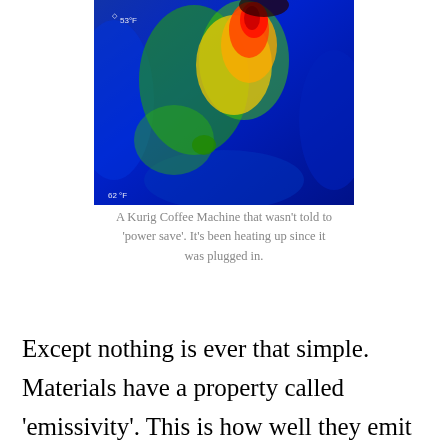[Figure (photo): Thermal infrared image of a Keurig coffee machine showing a heat map with colors ranging from blue (cool, 62°F) at the edges to red/orange/yellow (hot) in the center. Temperature scale shown on left side with markers at 62°F and 53°F.]
A Kurig Coffee Machine that wasn't told to 'power save'. It's been heating up since it was plugged in.
Except nothing is ever that simple. Materials have a property called 'emissivity'. This is how well they emit light at a certain